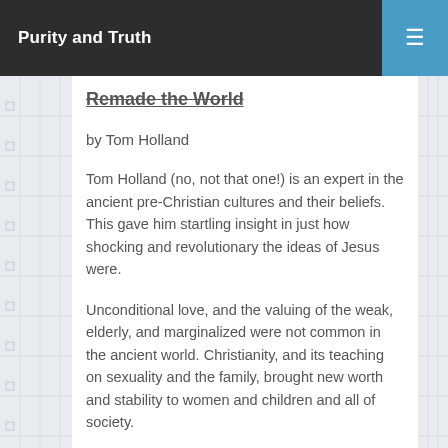Purity and Truth
Remade the World
by Tom Holland
Tom Holland (no, not that one!) is an expert in the ancient pre-Christian cultures and their beliefs. This gave him startling insight in just how shocking and revolutionary the ideas of Jesus were.
Unconditional love, and the valuing of the weak, elderly, and marginalized were not common in the ancient world. Christianity, and its teaching on sexuality and the family, brought new worth and stability to women and children and all of society.
So much of what we appreciate about western civilization is directly tied to our Christian